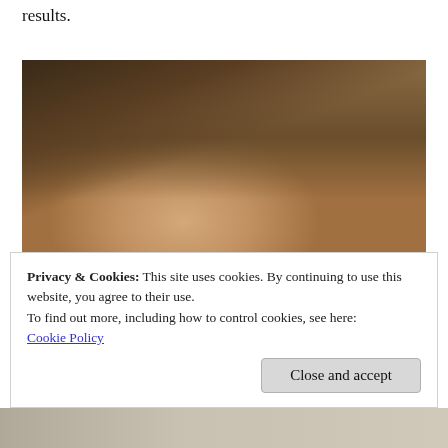results.
[Figure (photo): A young woman with long dark hair photographed in a selfie-style close-up. Background shows what appears to be photos or posters on a wall.]
Privacy & Cookies: This site uses cookies. By continuing to use this website, you agree to their use.
To find out more, including how to control cookies, see here:
Cookie Policy
Close and accept